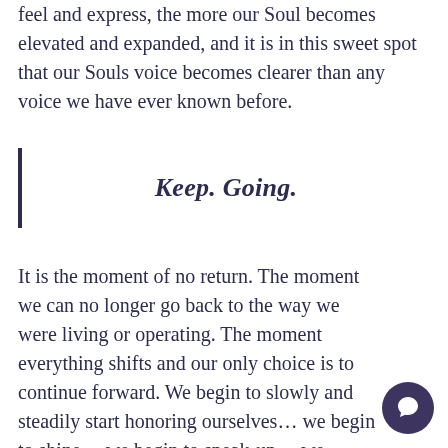feel and express, the more our Soul becomes elevated and expanded, and it is in this sweet spot that our Souls voice becomes clearer than any voice we have ever known before.
Keep. Going.
It is the moment of no return. The moment we can no longer go back to the way we were living or operating. The moment everything shifts and our only choice is to continue forward. We begin to slowly and steadily start honoring ourselves… we begin to shine… we begin to speak-up… we dance… we sing… we cry… we fight….